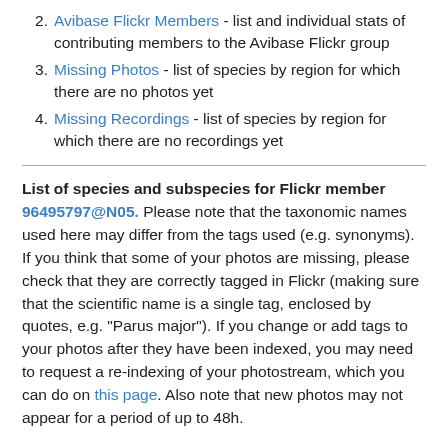2. Avibase Flickr Members - list and individual stats of contributing members to the Avibase Flickr group
3. Missing Photos - list of species by region for which there are no photos yet
4. Missing Recordings - list of species by region for which there are no recordings yet
List of species and subspecies for Flickr member 96495797@N05. Please note that the taxonomic names used here may differ from the tags used (e.g. synonyms). If you think that some of your photos are missing, please check that they are correctly tagged in Flickr (making sure that the scientific name is a single tag, enclosed by quotes, e.g. "Parus major"). If you change or add tags to your photos after they have been indexed, you may need to request a re-indexing of your photostream, which you can do on this page. Also note that new photos may not appear for a period of up to 48h.